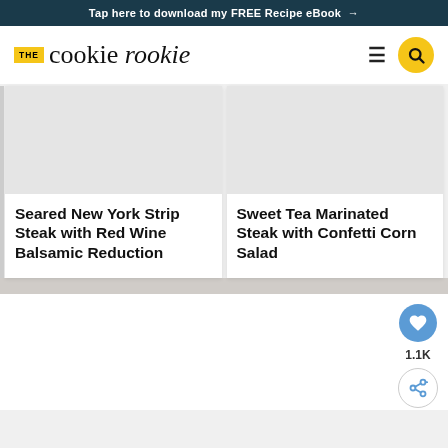Tap here to download my FREE Recipe eBook →
[Figure (logo): The Cookie Rookie logo with yellow THE badge and script/serif wordmark]
Seared New York Strip Steak with Red Wine Balsamic Reduction
Sweet Tea Marinated Steak with Confetti Corn Salad
1.1K